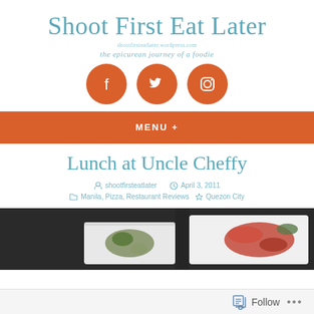Shoot First Eat Later
shootfirsteatlater.wordpress.com
the epicurean journey of a foodie
[Figure (illustration): Three orange circular social media icons: Facebook, Twitter, Instagram]
MENU +
Lunch at Uncle Cheffy
shootfirsteatlater   April 3, 2011
Manila, Pizza, Restaurant Reviews   Quezon City
[Figure (photo): Food photo showing white square bowls with food items on dark surface]
Follow   ...